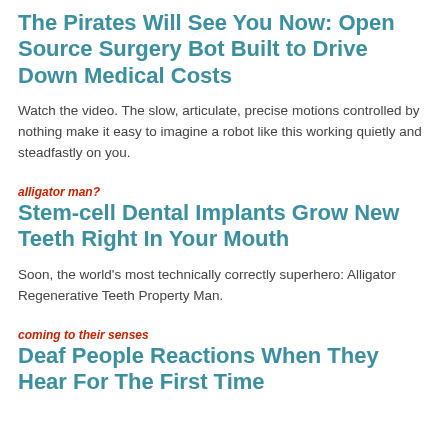The Pirates Will See You Now: Open Source Surgery Bot Built to Drive Down Medical Costs
Watch the video. The slow, articulate, precise motions controlled by nothing make it easy to imagine a robot like this working quietly and steadfastly on you.
alligator man?
Stem-cell Dental Implants Grow New Teeth Right In Your Mouth
Soon, the world's most technically correctly superhero: Alligator Regenerative Teeth Property Man.
coming to their senses
Deaf People Reactions When They Hear For The First Time